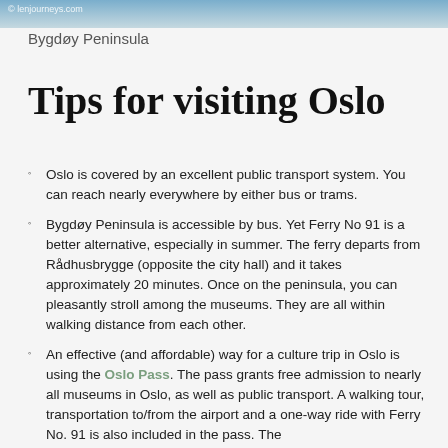[Figure (photo): Partial photo strip at top of page showing water/sky scene with watermark '© lenjourneys.com']
Bygdøy Peninsula
Tips for visiting Oslo
Oslo is covered by an excellent public transport system. You can reach nearly everywhere by either bus or trams.
Bygdøy Peninsula is accessible by bus. Yet Ferry No 91 is a better alternative, especially in summer. The ferry departs from Rådhusbrygge (opposite the city hall) and it takes approximately 20 minutes. Once on the peninsula, you can pleasantly stroll among the museums. They are all within walking distance from each other.
An effective (and affordable) way for a culture trip in Oslo is using the Oslo Pass. The pass grants free admission to nearly all museums in Oslo, as well as public transport. A walking tour, transportation to/from the airport and a one-way ride with Ferry No. 91 is also included in the pass. The